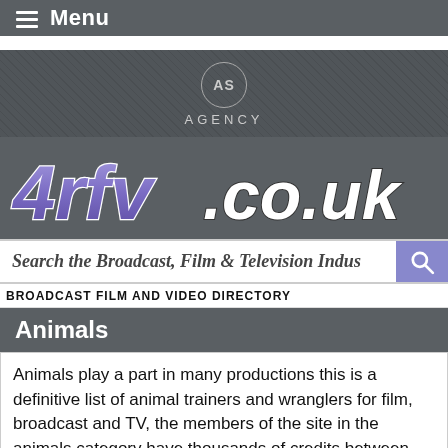≡ Menu
[Figure (logo): AS Agency circular logo with text 'AS' inside a circle and 'AGENCY' below in spaced letters on a dark textured background]
[Figure (logo): 4rfv.co.uk logo in stylized purple/blue 3D lettering on dark grey background]
Search the Broadcast, Film & Television Indus
BROADCAST FILM AND VIDEO DIRECTORY
Animals
Animals play a part in many productions this is a definitive list of animal trainers and wranglers for film, broadcast and TV, the members of the site in the animals category have thousands of credits between them and are some of the most experienced trainers in this field. We also have various organisations listed that are involved in animal welfare.